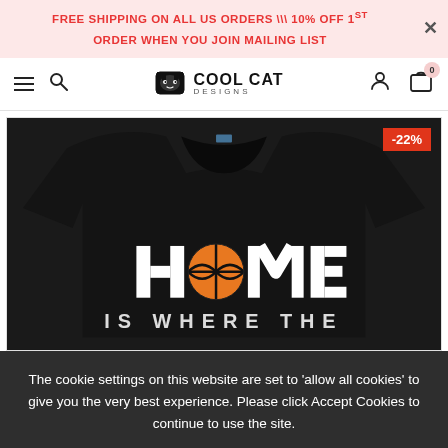FREE SHIPPING ON ALL US ORDERS \\\ 10% OFF 1ST ORDER WHEN YOU JOIN MAILING LIST
[Figure (screenshot): Cool Cat Designs website navigation bar with hamburger menu, search icon, Cool Cat Designs logo, user icon, and cart icon showing 0 items]
[Figure (photo): Black sweatshirt with basketball-themed graphic reading HOME IS WHERE THE with basketball replacing the O in HOME, -22% discount badge in top right corner]
The cookie settings on this website are set to 'allow all cookies' to give you the very best experience. Please click Accept Cookies to continue to use the site.
PRIVACY POLICY   ACCEPT ✓